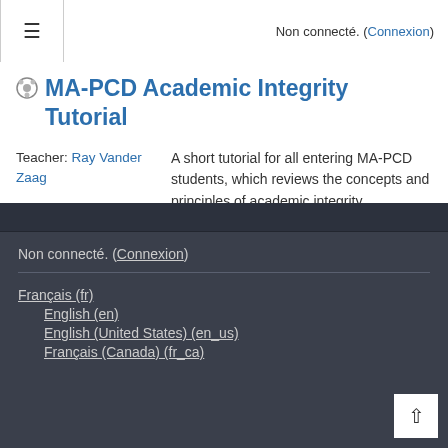Non connecté. (Connexion)
MA-PCD Academic Integrity Tutorial
Teacher: Ray Vander Zaag
A short tutorial for all entering MA-PCD students, which reviews the concepts and principles of academic integrity.
Non connecté. (Connexion)
Français (fr)
English (en)
English (United States) (en_us)
Français (Canada) (fr_ca)